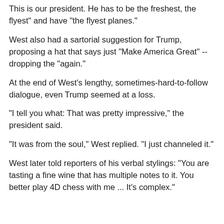This is our president. He has to be the freshest, the flyest" and have "the flyest planes."
West also had a sartorial suggestion for Trump, proposing a hat that says just "Make America Great" -- dropping the "again."
At the end of West's lengthy, sometimes-hard-to-follow dialogue, even Trump seemed at a loss.
"I tell you what: That was pretty impressive," the president said.
"It was from the soul," West replied. "I just channeled it."
West later told reporters of his verbal stylings: "You are tasting a fine wine that has multiple notes to it. You better play 4D chess with me ... It's complex."